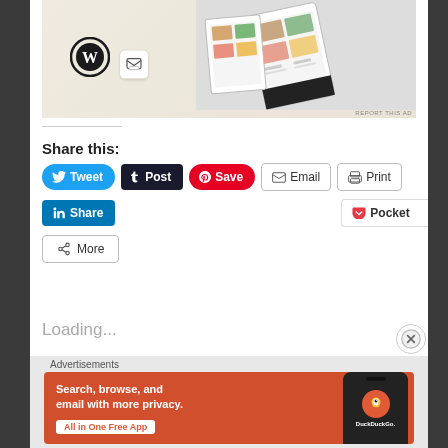[Figure (screenshot): WordPress blog post page with food-themed app/website mockup advertisement at top. Shows WordPress logo and an inbox icon on a cream background, with a food delivery app interface visible on the right.]
REPORT THIS AD
Share this:
[Figure (screenshot): Social sharing buttons row: Tweet (blue, Twitter), Post (dark, Tumblr), Save (red, Pinterest), Email (outlined), Print (outlined)]
[Figure (screenshot): Social sharing buttons row 2: Share (LinkedIn blue), Pocket (with count 0)]
[Figure (screenshot): More sharing button (outlined with share icon)]
Loading...
Advertisements
[Figure (screenshot): DuckDuckGo advertisement banner on orange-red background. Text: 'Search, browse, and email with more privacy. All in One Free App' with DuckDuckGo logo and phone mockup on right side.]